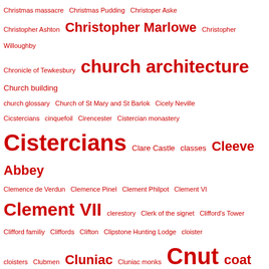Christmas massacre  Christmas Pudding  Christoper Aske  Christopher Ashton  Christopher Marlowe  Christopher Willoughby  Chronicle of Tewkesbury  church architecture  Church building  church glossary  Church of St Mary and St Barlok  Cicely Neville  Cicstercians  cinquefoil  Cirencester  Cistercian monastery  Cistercians  Clare Castle  classes  Cleeve Abbey  Clemence de Verdun  Clemence Pinel  Clement Philpot  Clement VI  Clement VII  clerestory  Clerk of the signet  Clifford's Tower  Clifford familiy  Cliffords  Clifton  Clipstone Hunting Lodge  cloister  cloisters  Clubmen  Cluniac  Cluniac monks  Cnut  coat of arms  Cockayne Project  Cockersand Abbey  Cockfield Hall  Codnor  Coggeshall Abbey  Coggeshall White  coin hoard  coins  Colbourne  Colchester  Colchester Abbey  Coldharbour  Coleby  College Hill  collegiate church explained  Collyweston  Cologne  Colonel Charles Cavendish  Colonel Culpepper  Colonel Francis Towneley  Colonel John Hamilton  Colonel Posthumous Kirton  Colonel William Owen  colour  Commines  commission of array  Committee of Safety  Comperta  Composition of arms  Compton Verney  Comte de Tillieres  Conan II of Brittany  Conan IV  concentric castles  Concine  Concini